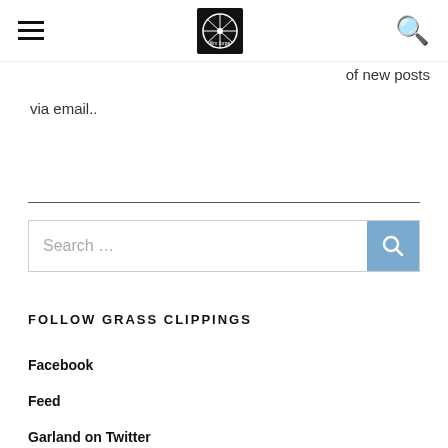[hamburger menu] [logo] [search icon]
of new posts
via email..
[Figure (other): Search bar with placeholder text 'Search ...' and a blue search button with magnifying glass icon]
FOLLOW GRASS CLIPPINGS
Facebook
Feed
Garland on Twitter
Stef on Twitter